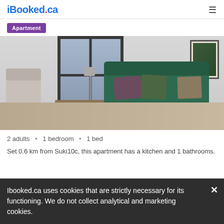iBooked.ca
Apartment
[Figure (photo): Interior photo of a modern apartment living room with a green velvet sofa, decorative pillows, coffee table, grey accent chair, floor lamp, large window with city view, and wall art.]
2 adults • 1 bedroom • 1 bed
Set 0.6 km from Suki10c, this apartment has a kitchen and 1 bathrooms.
Ibooked.ca uses cookies that are strictly necessary for its functioning. We do not collect analytical and marketing cookies.